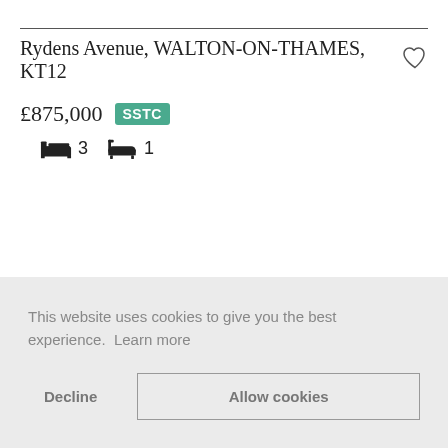Rydens Avenue, WALTON-ON-THAMES, KT12
£875,000  SSTC
🛏 3  🛁 1
This website uses cookies to give you the best experience. Learn more
Decline    Allow cookies